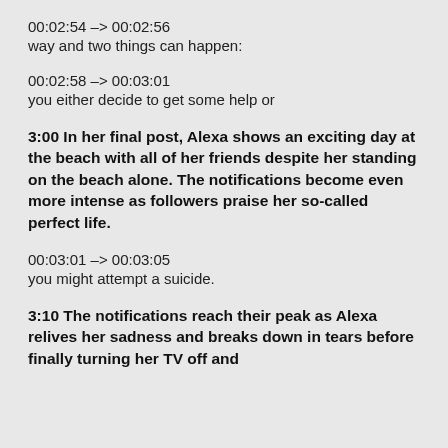00:02:54 --> 00:02:56
way and two things can happen:
00:02:58 --> 00:03:01
you either decide to get some help or
3:00 In her final post, Alexa shows an exciting day at the beach with all of her friends despite her standing on the beach alone. The notifications become even more intense as followers praise her so-called perfect life.
00:03:01 --> 00:03:05
you might attempt a suicide.
3:10 The notifications reach their peak as Alexa relives her sadness and breaks down in tears before finally turning her TV off and